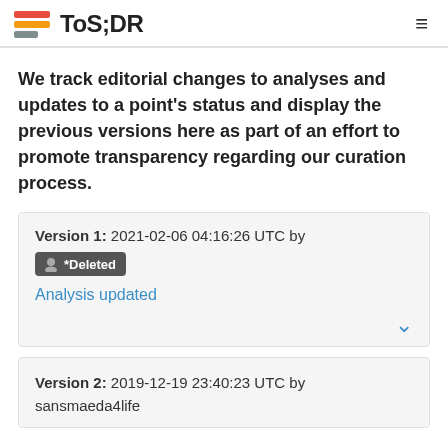ToS;DR
We track editorial changes to analyses and updates to a point's status and display the previous versions here as part of an effort to promote transparency regarding our curation process.
Version 1: 2021-02-06 04:16:26 UTC by *Deleted
Analysis updated
Version 2: 2019-12-19 23:40:23 UTC by sansmaeda4life